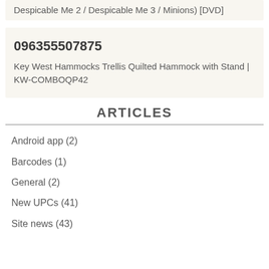Despicable Me 2 / Despicable Me 3 / Minions) [DVD]
096355507875
Key West Hammocks Trellis Quilted Hammock with Stand | KW-COMBOQP42
ARTICLES
Android app (2)
Barcodes (1)
General (2)
New UPCs (41)
Site news (43)